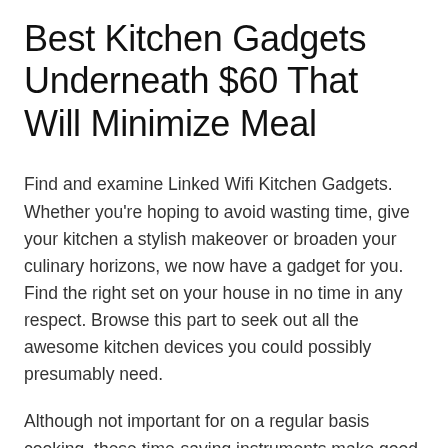Best Kitchen Gadgets Underneath $60 That Will Minimize Meal
Find and examine Linked Wifi Kitchen Gadgets. Whether you're hoping to avoid wasting time, give your kitchen a stylish makeover or broaden your culinary horizons, we now have a gadget for you. Find the right set on your house in no time in any respect. Browse this part to seek out all the awesome kitchen devices you could possibly presumably need.
Although not important for on a regular basis cooking, these time-saving instruments make good additions to any kitchen. Prepare dinner delicious dishes simply with this triple pot gradual cooker from Cooks Skilled. Now, you might be